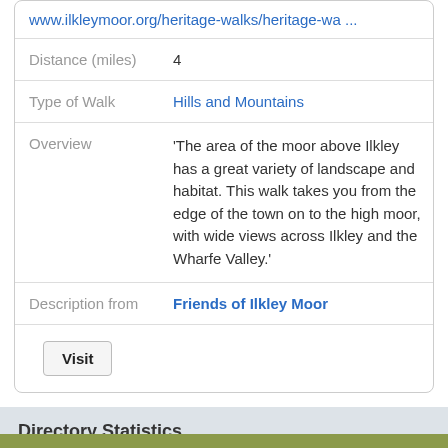| www.ilkleymoor.org/heritage-walks/heritage-wa ... |  |
| Distance (miles) | 4 |
| Type of Walk | Hills and Mountains |
| Overview | 'The area of the moor above Ilkley has a great variety of landscape and habitat. This walk takes you from the edge of the town on to the high moor, with wide views across Ilkley and the Wharfe Valley.' |
| Description from | Friends of Ilkley Moor |
|  | Visit |
Directory Statistics
There are 612 categories in our website